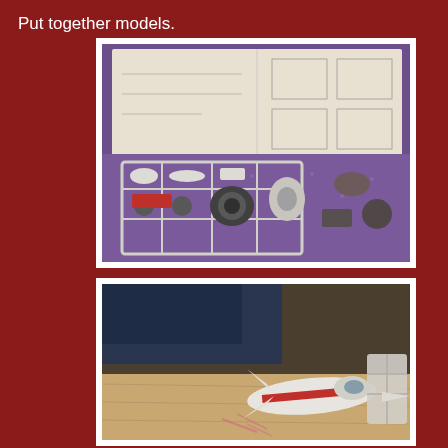Put together models.
[Figure (photo): Model kit parts laid out on a purple fabric surface next to an open instruction booklet. White plastic sprues with various model pieces, red and dark colored parts visible.]
[Figure (photo): A child's hand reaching toward a partially assembled white and red model spaceship (X-wing style) on a wooden board on the floor. Remaining plastic sprues visible in background.]